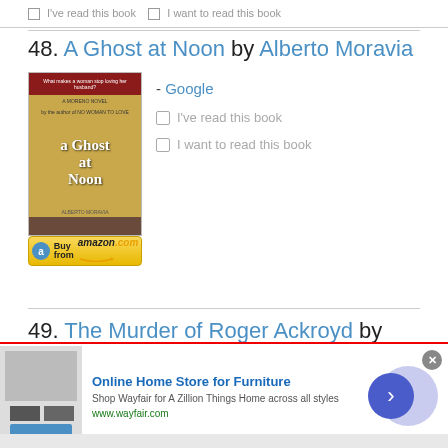I've read this book   I want to read this book
48. A Ghost at Noon by Alberto Moravia
- Google
[Figure (photo): Book cover of A Ghost at Noon by Alberto Moravia, a Signet Book]
Buy from amazon.com
I've read this book
I want to read this book
49. The Murder of Roger Ackroyd by Agatha
[Figure (screenshot): Advertisement: Online Home Store for Furniture - Shop Wayfair for A Zillion Things Home across all styles. www.wayfair.com]